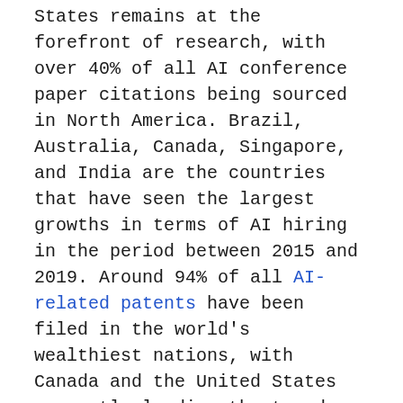States remains at the forefront of research, with over 40% of all AI conference paper citations being sourced in North America. Brazil, Australia, Canada, Singapore, and India are the countries that have seen the largest growths in terms of AI hiring in the period between 2015 and 2019. Around 94% of all AI-related patents have been filed in the world's wealthiest nations, with Canada and the United States currently leading the trend.
What Does It Mean For Consumers?
AI, for the most part, is available to